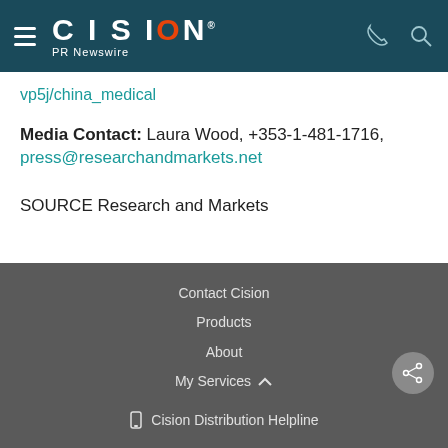CISION PR Newswire
vp5j/china_medical
Media Contact: Laura Wood, +353-1-481-1716, press@researchandmarkets.net
SOURCE Research and Markets
Contact Cision
Products
About
My Services
Cision Distribution Helpline